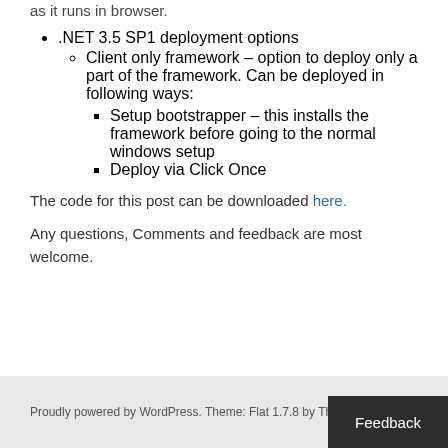as it runs in browser.
.NET 3.5 SP1 deployment options
Client only framework – option to deploy only a part of the framework. Can be deployed in following ways:
Setup bootstrapper – this installs the framework before going to the normal windows setup
Deploy via Click Once
The code for this post can be downloaded here.
Any questions, Comments and feedback are most welcome.
Proudly powered by WordPress. Theme: Flat 1.7.8 by Themeisle.